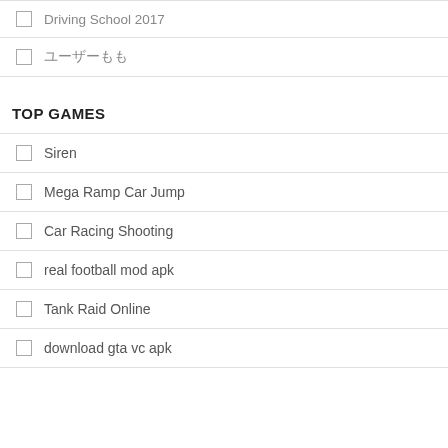Driving School 2017
ユーザーもも
TOP GAMES
Siren
Mega Ramp Car Jump
Car Racing Shooting
real football mod apk
Tank Raid Online
download gta vc apk